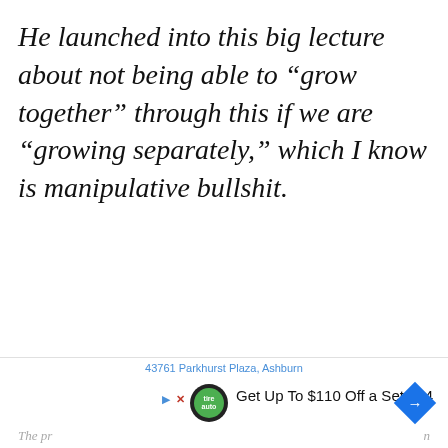He launched into this big lecture about not being able to “grow together” through this if we are “growing separately,” which I know is manipulative bullshit.
The pr…   43761 Parkhurst Plaza, Ashburn   Get Up To $110 Off a Set of 4   n